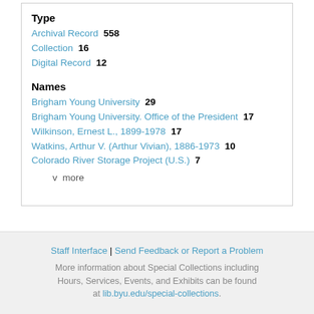Type
Archival Record  558
Collection  16
Digital Record  12
Names
Brigham Young University  29
Brigham Young University. Office of the President  17
Wilkinson, Ernest L., 1899-1978  17
Watkins, Arthur V. (Arthur Vivian), 1886-1973  10
Colorado River Storage Project (U.S.)  7
v  more
Staff Interface | Send Feedback or Report a Problem
More information about Special Collections including Hours, Services, Events, and Exhibits can be found at lib.byu.edu/special-collections.